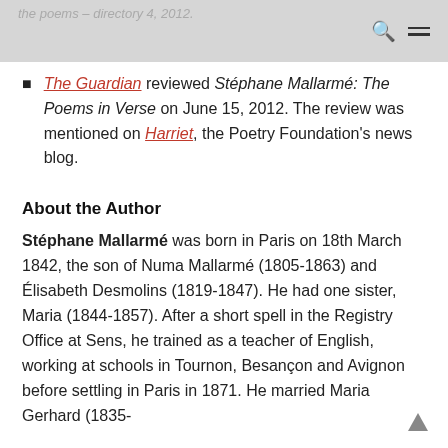the poems – directory 4, 2012.
The Guardian reviewed Stéphane Mallarmé: The Poems in Verse on June 15, 2012. The review was mentioned on Harriet, the Poetry Foundation's news blog.
About the Author
Stéphane Mallarmé was born in Paris on 18th March 1842, the son of Numa Mallarmé (1805-1863) and Élisabeth Desmolins (1819-1847). He had one sister, Maria (1844-1857). After a short spell in the Registry Office at Sens, he trained as a teacher of English, working at schools in Tournon, Besançon and Avignon before settling in Paris in 1871. He married Maria Gerhard (1835-